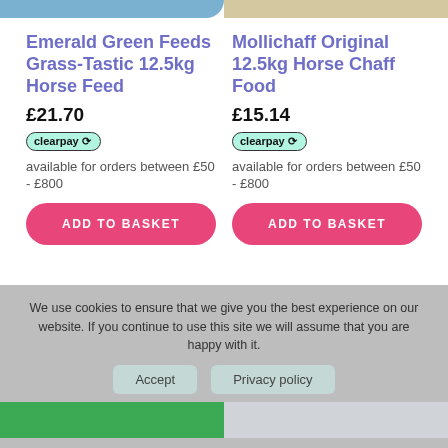Emerald Green Feeds Grass-Tastic 12.5kg Horse Feed
Mollichaff Original 12.5kg Horse Chaff Food
£21.70
£15.14
clearpay available for orders between £50 - £800
clearpay available for orders between £50 - £800
ADD TO BASKET
ADD TO BASKET
We use cookies to ensure that we give you the best experience on our website. If you continue to use this site we will assume that you are happy with it.